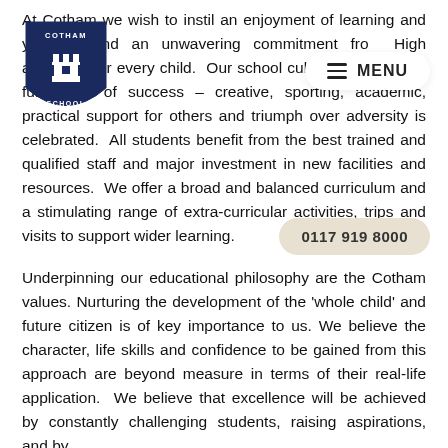[Figure (logo): Cotham School crest logo — dark navy blue shield with a chess rook and the words COTHAM SCHOOL]
At Cotham we wish to instil an enjoyment of learning and you will find an unwavering commitment from High ambitions for every child. Our school culture is one which full range of success – creative, sporting, academic, practical support for others and triumph over adversity is celebrated. All students benefit from the best trained and qualified staff and major investment in new facilities and resources. We offer a broad and balanced curriculum and a stimulating range of extra-curricular activities, trips and visits to support wider learning.
Underpinning our educational philosophy are the Cotham values. Nurturing the development of the 'whole child' and future citizen is of key importance to us. We believe the character, life skills and confidence to be gained from this approach are beyond measure in terms of their real-life application. We believe that excellence will be achieved by constantly challenging students, raising aspirations, and by